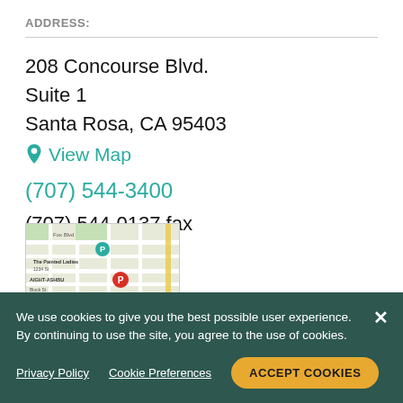ADDRESS:
208 Concourse Blvd.
Suite 1
Santa Rosa, CA 95403
View Map
(707) 544-3400
(707) 544-0137 fax
[Figure (map): Google Maps thumbnail showing location near The Painted Ladies and Haight-Ashbury area in San Francisco]
We use cookies to give you the best possible user experience. By continuing to use the site, you agree to the use of cookies.
Privacy Policy
Cookie Preferences
ACCEPT COOKIES